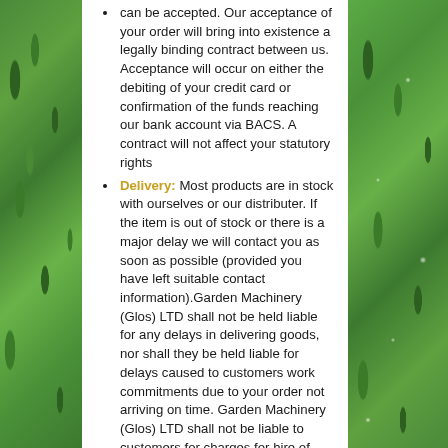can be accepted. Our acceptance of your order will bring into existence a legally binding contract between us. Acceptance will occur on either the debiting of your credit card or confirmation of the funds reaching our bank account via BACS. A contract will not affect your statutory rights
Delivery: Most products are in stock with ourselves or our distributer. If the item is out of stock or there is a major delay we will contact you as soon as possible (provided you have left suitable contact information).Garden Machinery (Glos) LTD shall not be held liable for any delays in delivering goods, nor shall they be held liable for delays caused to customers work commitments due to your order not arriving on time. Garden Machinery (Glos) LTD shall not be liable to customers for charges for hire of alternate machinery or labour. Garden Machinery (Glos) LTD will not be liable for compensation of any kind due to late delivery of machinery or failure of